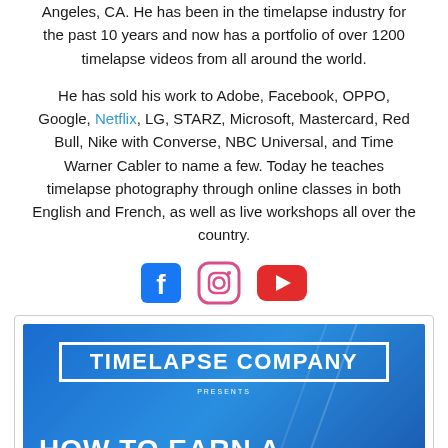Angeles, CA. He has been in the timelapse industry for the past 10 years and now has a portfolio of over 1200 timelapse videos from all around the world.
He has sold his work to Adobe, Facebook, OPPO, Google, Netflix, LG, STARZ, Microsoft, Mastercard, Red Bull, Nike with Converse, NBC Universal, and Time Warner Cabler to name a few. Today he teaches timelapse photography through online classes in both English and French, as well as live workshops all over the country.
[Figure (other): Social media icons: Facebook (blue square with f), Instagram (outline camera icon), YouTube (red rectangle with play button)]
[Figure (screenshot): Video thumbnail with blue gradient background. Top: white bordered box with bold white text 'TIMELAPSE COMPANY' and smaller text 'PRESENTS'. Bottom left partial text 'HOW TO EARN A' in large bold white letters on dark blue.]